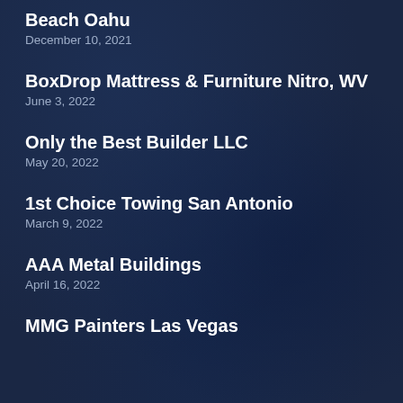Beach Oahu
December 10, 2021
BoxDrop Mattress & Furniture Nitro, WV
June 3, 2022
Only the Best Builder LLC
May 20, 2022
1st Choice Towing San Antonio
March 9, 2022
AAA Metal Buildings
April 16, 2022
MMG Painters Las Vegas